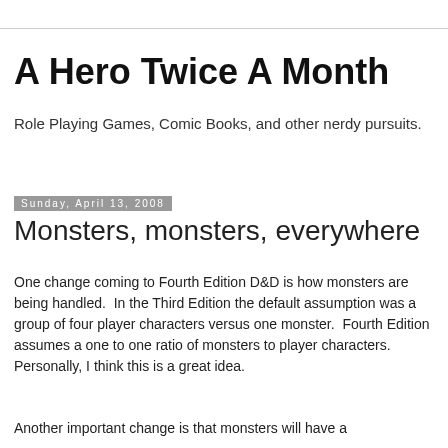A Hero Twice A Month
Role Playing Games, Comic Books, and other nerdy pursuits.
Sunday, April 13, 2008
Monsters, monsters, everywhere
One change coming to Fourth Edition D&D is how monsters are being handled.  In the Third Edition the default assumption was a group of four player characters versus one monster.  Fourth Edition assumes a one to one ratio of monsters to player characters.  Personally, I think this is a great idea.
Another important change is that monsters will have a